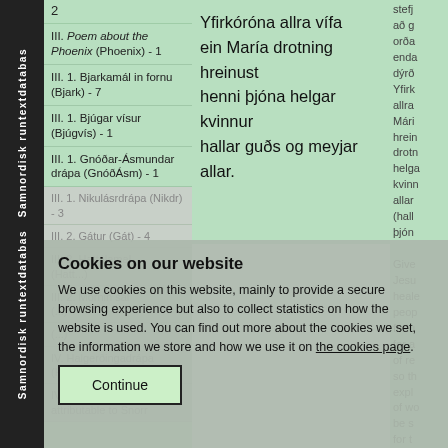Samnordisk runtextdatabas Samnordisk runtextdatabas
2
III. Poem about the Phoenix (Phoenix) - 1
III. 1. Bjarkamál in fornu (Bjark) - 7
III. 1. Bjúgar vísur (Bjúgvís) - 1
III. 1. Gnóðar-Ásmundar drápa (GnóðÁsm) - 1
III. 1. Nikulásrdrápa (Nikdr) - 3
III. 2. Gátur (Gát) - 4
III. 2. Hattálamal (Hatty...)
III. 2. Morninsál (...)
Yfirkóróna allra vífa
ein María drotning hreinust
henni þjóna helgar kvinnur
hallar guðs og meyjar allar.
Cookies on our website

We use cookies on this website, mainly to provide a secure browsing experience but also to collect statistics on how the website is used. You can find out more about the cookies we set, the information we store and how we use it on the cookies page.

Continue